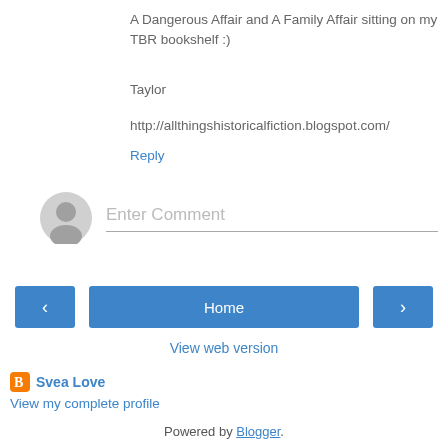A Dangerous Affair and A Family Affair sitting on my TBR bookshelf :)
Taylor
http://allthingshistoricalfiction.blogspot.com/
Reply
[Figure (other): User avatar placeholder icon (gray silhouette) and comment input field with placeholder text 'Enter Comment']
[Figure (other): Navigation buttons: left arrow, Home, right arrow]
View web version
[Figure (logo): Blogger orange B logo icon]
Svea Love
View my complete profile
Powered by Blogger.